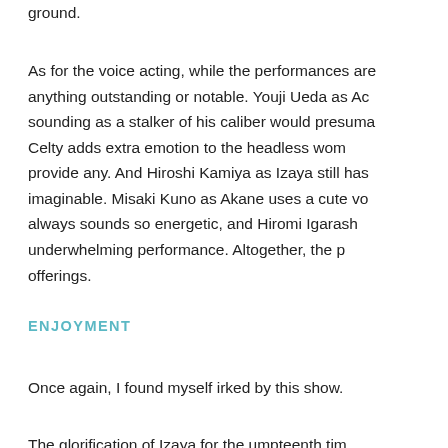ground.
As for the voice acting, while the performances are anything outstanding or notable. Youji Ueda as Ac sounding as a stalker of his caliber would presuma Celty adds extra emotion to the headless wom provide any. And Hiroshi Kamiya as Izaya still has imaginable. Misaki Kuno as Akane uses a cute vo always sounds so energetic, and Hiromi Igarash underwhelming performance. Altogether, the p offerings.
ENJOYMENT
Once again, I found myself irked by this show.
The glorification of Izaya for the umpteenth tim reasons. I cannot stand his character. They tried to h around; his avenging of Shinra and attempts to loca made him out to be someone who was potentially a anime would revert back to its old ways with him. H